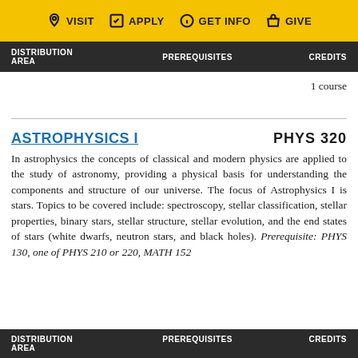VISIT   APPLY   GET INFO   GIVE
| DISTRIBUTION AREA | PREREQUISITES | CREDITS |
| --- | --- | --- |
1 course
ASTROPHYSICS I   PHYS 320
In astrophysics the concepts of classical and modern physics are applied to the study of astronomy, providing a physical basis for understanding the components and structure of our universe. The focus of Astrophysics I is stars. Topics to be covered include: spectroscopy, stellar classification, stellar properties, binary stars, stellar structure, stellar evolution, and the end states of stars (white dwarfs, neutron stars, and black holes). Prerequisite: PHYS 130, one of PHYS 210 or 220, MATH 152
| DISTRIBUTION AREA | PREREQUISITES | CREDITS |
| --- | --- | --- |